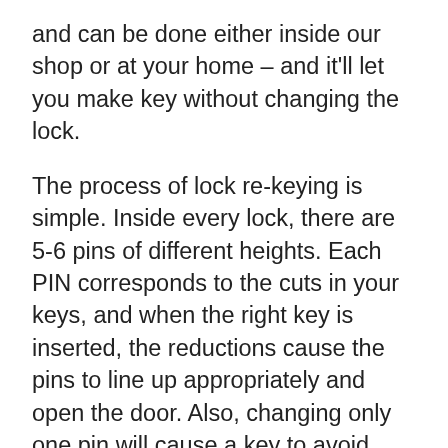and can be done either inside our shop or at your home – and it'll let you make key without changing the lock.
The process of lock re-keying is simple. Inside every lock, there are 5-6 pins of different heights. Each PIN corresponds to the cuts in your keys, and when the right key is inserted, the reductions cause the pins to line up appropriately and open the door. Also, changing only one pin will cause a key to avoid working, but for added security, we make it a practice to modify every pin. Changing the pin ensures the old key will never work, giving your new key sole access to your home. It is less expensive than updating your locks and are major things on your list after you